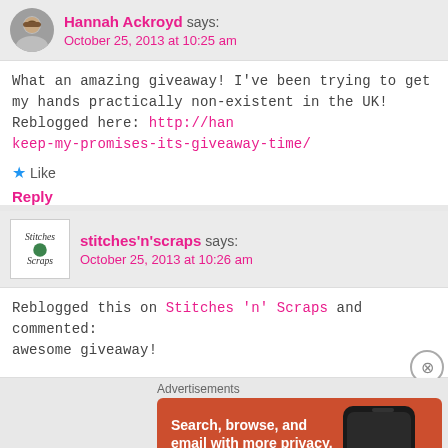Hannah Ackroyd says: October 25, 2013 at 10:25 am
What an amazing giveaway! I've been trying to get my hands practically non-existent in the UK! Reblogged here: http://han keep-my-promises-its-giveaway-time/
Like
Reply
stitches'n'scraps says: October 25, 2013 at 10:26 am
Reblogged this on Stitches 'n' Scraps and commented: awesome giveaway!
Advertisements
[Figure (photo): DuckDuckGo advertisement banner showing orange background with text 'Search, browse, and email with more privacy. All in One Free App' and a phone image with DuckDuckGo logo]